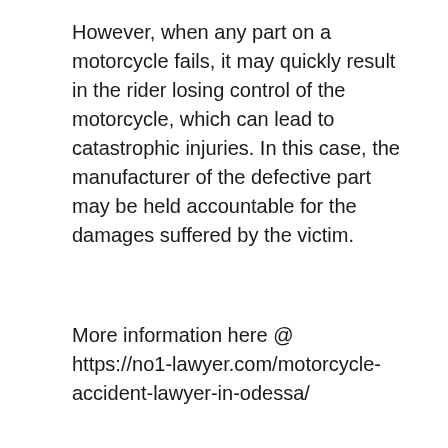However, when any part on a motorcycle fails, it may quickly result in the rider losing control of the motorcycle, which can lead to catastrophic injuries. In this case, the manufacturer of the defective part may be held accountable for the damages suffered by the victim.
More information here @ https://no1-lawyer.com/motorcycle-accident-lawyer-in-odessa/